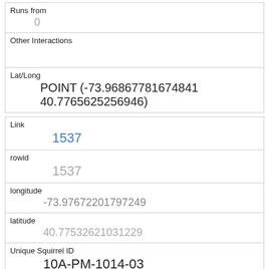| Runs from | 0 |
| Other Interactions |  |
| Lat/Long | POINT (-73.96867781674841 40.7765625256946) |
| Link | 1537 |
| rowid | 1537 |
| longitude | -73.97672201797249 |
| latitude | 40.77532621031229 |
| Unique Squirrel ID | 10A-PM-1014-03 |
| Hectare | 10A |
| Shift | PM |